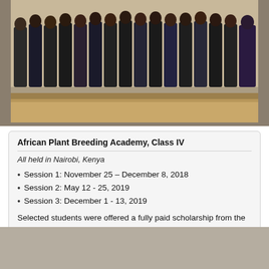[Figure (photo): Group photo of African Plant Breeding Academy Class IV participants standing together in rows, taken outdoors on steps]
African Plant Breeding Academy, Class IV
All held in Nairobi, Kenya
Session 1: November 25 – December 8, 2018
Session 2: May 12 - 25, 2019
Session 3: December 1 - 13, 2019
Selected students were offered a fully paid scholarship from the African Orphan Crops Consortium that covered tuition, all materials, travel and accommodations.